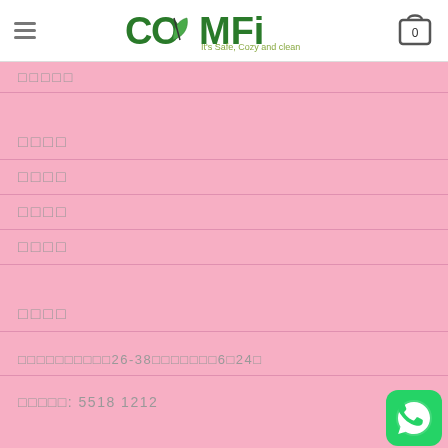COMFI - It's Safe, Cozy and clean
□□□□□
□□□□
□□□□
□□□□
□□□□
□□□□
□□□□□□□□□□26-38□□□□□□□6□24□
□□□□□: 5518 1212